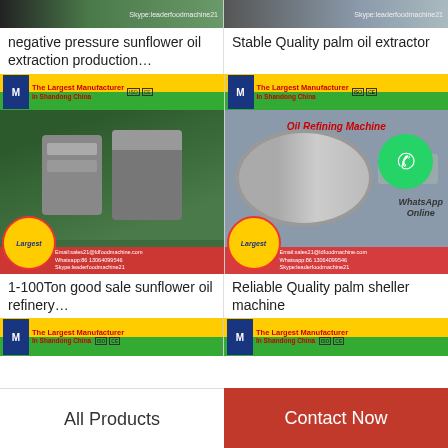[Figure (photo): Partial product image top left with yellow banner and Skype text]
[Figure (photo): Partial product image top right with yellow banner and Skype text]
negative pressure sunflower oil extraction production…
Stable Quality palm oil extractor
[Figure (photo): Oil extraction machine in green factory room with manufacturer banner, contact info, Largest badge]
[Figure (photo): Oil refining machine large tank with WhatsApp Online badge, manufacturer banner, contact info]
1-100Ton good sale sunflower oil refinery…
Reliable Quality palm sheller machine
[Figure (photo): Partial product image bottom left with green/yellow manufacturer banner]
[Figure (photo): Partial product image bottom right with green/yellow manufacturer banner]
All Products
Contact Now